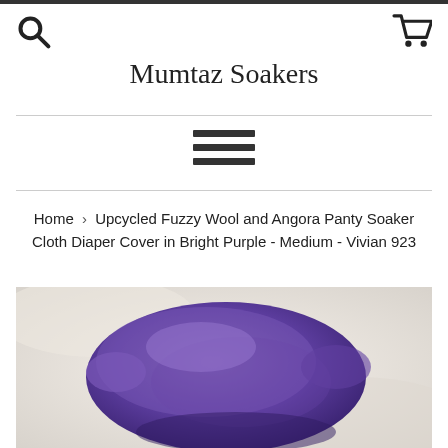Mumtaz Soakers
Home › Upcycled Fuzzy Wool and Angora Panty Soaker Cloth Diaper Cover in Bright Purple - Medium - Vivian 923
[Figure (photo): A bright purple fuzzy wool and angora cloth diaper cover (panty soaker) laid against a white fabric background.]